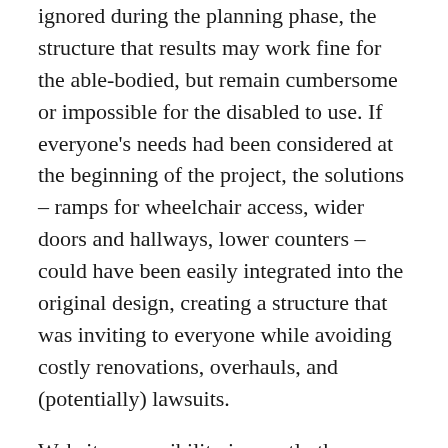ignored during the planning phase, the structure that results may work fine for the able-bodied, but remain cumbersome or impossible for the disabled to use. If everyone's needs had been considered at the beginning of the project, the solutions – ramps for wheelchair access, wider doors and hallways, lower counters – could have been easily integrated into the original design, creating a structure that was inviting to everyone while avoiding costly renovations, overhauls, and (potentially) lawsuits.
Website accessibility is exactly the same. While inevitably it must be treated as a somewhat separate set of skills, integrating a few simple best practices in your work builds accessibility into your